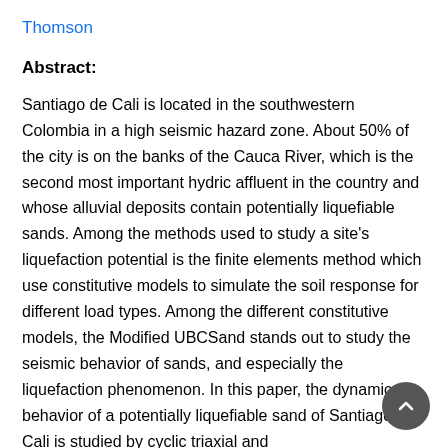Thomson
Abstract:
Santiago de Cali is located in the southwestern Colombia in a high seismic hazard zone. About 50% of the city is on the banks of the Cauca River, which is the second most important hydric affluent in the country and whose alluvial deposits contain potentially liquefiable sands. Among the methods used to study a site's liquefaction potential is the finite elements method which use constitutive models to simulate the soil response for different load types. Among the different constitutive models, the Modified UBCSand stands out to study the seismic behavior of sands, and especially the liquefaction phenomenon. In this paper, the dynamic behavior of a potentially liquefiable sand of Santiago de Cali is studied by cyclic triaxial and